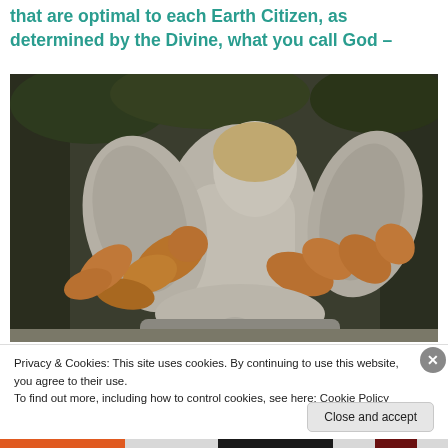that are optimal to each Earth Citizen, as determined by the Divine, what you call God –
[Figure (photo): A stone angel statue with a squirrel climbing on it, outdoors in a garden setting.]
Privacy & Cookies: This site uses cookies. By continuing to use this website, you agree to their use.
To find out more, including how to control cookies, see here: Cookie Policy
Close and accept